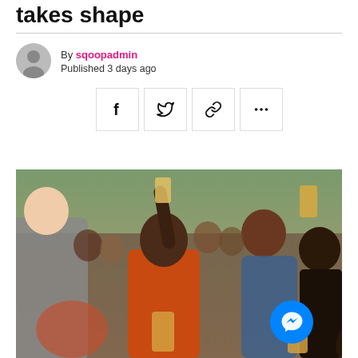takes shape
By sqoopadmin
Published 3 days ago
[Figure (photo): People dancing and celebrating at an outdoor festival. A woman in an orange top holds her arm raised and holds a beer glass. Others around her are also celebrating with drinks.]